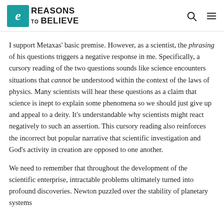Reasons to Believe
I support Metaxas' basic premise. However, as a scientist, the phrasing of his questions triggers a negative response in me. Specifically, a cursory reading of the two questions sounds like science encounters situations that cannot be understood within the context of the laws of physics. Many scientists will hear these questions as a claim that science is inept to explain some phenomena so we should just give up and appeal to a deity. It's understandable why scientists might react negatively to such an assertion. This cursory reading also reinforces the incorrect but popular narrative that scientific investigation and God's activity in creation are opposed to one another.
We need to remember that throughout the development of the scientific enterprise, intractable problems ultimately turned into profound discoveries. Newton puzzled over the stability of planetary systems...